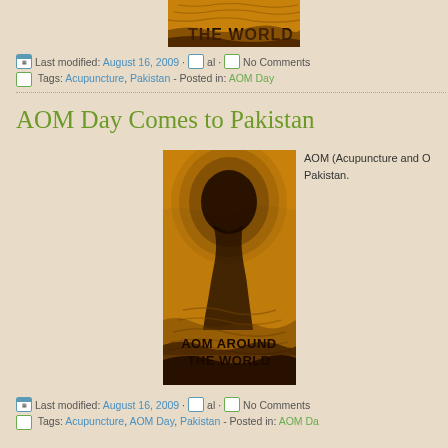[Figure (illustration): Partial view of AOM Around the World illustrated poster showing bottom portion with text 'THE WORLD' and decorative art]
Last modified: August 16, 2009 · al · No Comments
Tags: Acupuncture, Pakistan - Posted in: AOM Day
AOM Day Comes to Pakistan
[Figure (illustration): AOM Around the World illustrated poster showing a silhouette figure in orange and black ink style art with text 'AOM AROUND THE WORLD' at bottom]
AOM (Acupuncture and O... Pakistan.
Last modified: August 16, 2009 · al · No Comments
Tags: Acupuncture, AOM Day, Pakistan - Posted in: AOM Day